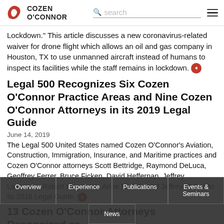Cozen O'Connor
Lockdown." This article discusses a new coronavirus-related waiver for drone flight which allows an oil and gas company in Houston, TX to use unmanned aircraft instead of humans to inspect its facilities while the staff remains in lockdown.
Legal 500 Recognizes Six Cozen O'Connor Practice Areas and Nine Cozen O'Connor Attorneys in its 2019 Legal Guide
June 14, 2019
The Legal 500 United States named Cozen O’Connor’s Aviation, Construction, Immigration, Insurance, and Maritime practices and Cozen O’Connor attorneys Scott Bettridge, Raymond DeLuca, Geoffrey Ferrer, Bruce Ficken, David Heffernan, Jeffrey Lawrence, Robert Magovern, Anne Mickey, and Jeffrey Mullen to its 2019 Legal Guide.
13 Cozen O’Connor Attorneys Recognized as